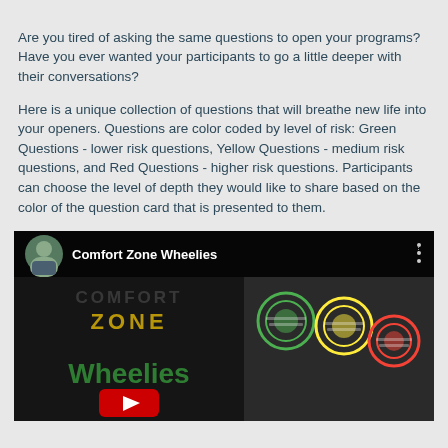Are you tired of asking the same questions to open your programs?  Have you ever wanted your participants to go a little deeper with their conversations?
Here is a unique collection of questions that will breathe new life into your openers. Questions are color coded by level of risk:  Green Questions - lower risk questions, Yellow Questions - medium risk questions, and Red Questions - higher risk questions. Participants can choose the level of depth they would like to share based on the color of the question card that is presented to them.
[Figure (screenshot): A YouTube video thumbnail for 'Comfort Zone Wheelies' showing a woman's avatar, the title text, green 'Wheelies' text on dark background, a YouTube play button, and colored circles on the right side.]